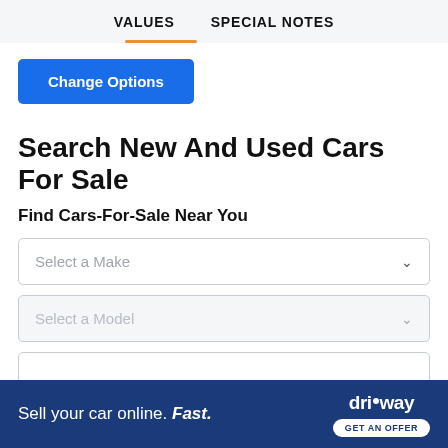VALUES   SPECIAL NOTES
Change Options
Search New And Used Cars For Sale
Find Cars-For-Sale Near You
Select a Make
Select a Model
20149
Sell your car online. Fast. driveway GET AN OFFER